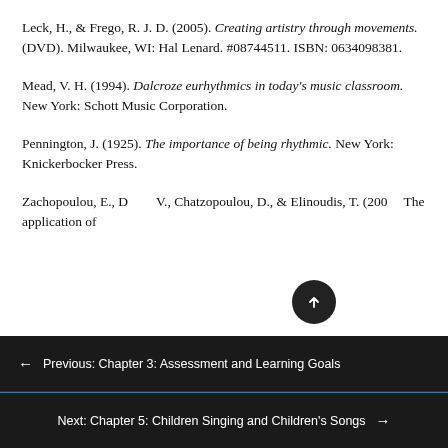Leck, H., & Frego, R. J. D. (2005). Creating artistry through movements. (DVD). Milwaukee, WI: Hal Lenard. #08744511. ISBN: 0634098381.
Mead, V. H. (1994). Dalcroze eurhythmics in today's music classroom. New York: Schott Music Corporation.
Pennington, J. (1925). The importance of being rhythmic. New York: Knickerbocker Press.
Zachopoulou, E., D..., V., Chatzopoulou, D., & Elinoudis, T. (200...). The application of
← Previous: Chapter 3: Assessment and Learning Goals
Next: Chapter 5: Children Singing and Children's Songs →